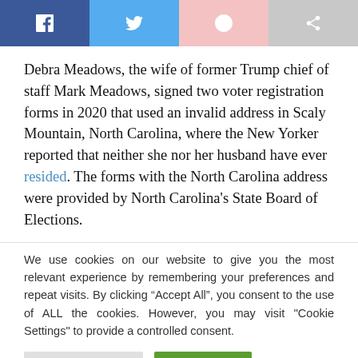[Figure (infographic): Social share buttons: Facebook (dark blue), Twitter (light blue), Google+ (pink), Share (gray)]
Debra Meadows, the wife of former Trump chief of staff Mark Meadows, signed two voter registration forms in 2020 that used an invalid address in Scaly Mountain, North Carolina, where the New Yorker reported that neither she nor her husband have ever resided. The forms with the North Carolina address were provided by North Carolina's State Board of Elections.
We use cookies on our website to give you the most relevant experience by remembering your preferences and repeat visits. By clicking “Accept All”, you consent to the use of ALL the cookies. However, you may visit "Cookie Settings" to provide a controlled consent.